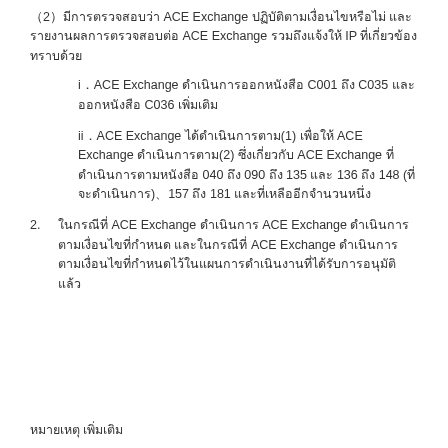（2）มีการตรวจสอบว่า ACE Exchange ปฏิบัติตามเงื่อนไขหรือไม่ และรายงานผลการตรวจสอบต่อ ACE Exchange รวมถึงแจ้งให้ IP ที่เกี่ยวข้องทราบด้วย
i．ACE Exchange ดำเนินการออกหนังสือ C001 ถึง C035 และออกหนังสือ C036 เพิ่มเติม
ii．ACE Exchange ได้ดำเนินการตาม(1) เพื่อให้ ACE Exchange ดำเนินการตาม(2) ซึ่งเกี่ยวกับ ACE Exchange ที่ดำเนินการตามหนังสือ 040 ถึง 090 ถึง 135 และ 136 ถึง 148 (ที่จะดำเนินการ)、157 ถึง 181 และที่เหลืออีกจำนวนหนึ่ง
2.　ในกรณีที่ ACE Exchange ดำเนินการ ACE Exchange ดำเนินการตามเงื่อนไขที่กำหนด และในกรณีที่ ACE Exchange ดำเนินการตามเงื่อนไขที่กำหนดไว้ในแผนการดำเนินงานที่ได้รับการอนุมัติแล้ว
หมายเหตุ เพิ่มเติม